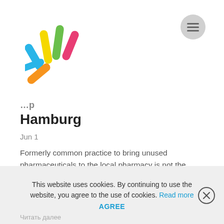[Figure (logo): Colorful hand/fingers logo with multiple colored lines resembling fingers: cyan, yellow, green, red/pink, orange]
[Figure (other): Gray circular hamburger menu button with three horizontal lines]
Hamburg
Jun 1
Formerly common practice to bring unused pharmaceuticals to the local pharmacy is not the case in Germany anymore, as since 2009 the pharmacies are no longer obliged to accept the medicaments back. Each Federal State in Germany has own strategy how to dispose the expired or unused pharmaceuticals. Different disposal practices confuse in the population and lead to
This website uses cookies. By continuing to use the website, you agree to the use of cookies. Read more AGREE